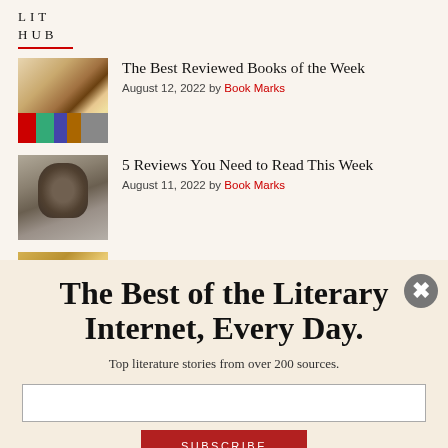LIT
HUB
The Best Reviewed Books of the Week
August 12, 2022 by Book Marks
5 Reviews You Need to Read This Week
August 11, 2022 by Book Marks
The Best Reviewed Books of
The Best of the Literary Internet, Every Day.
Top literature stories from over 200 sources.